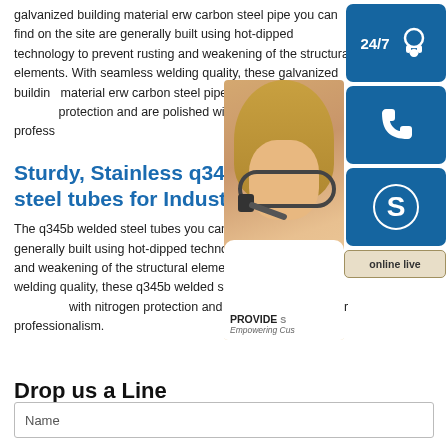galvanized building material erw carbon steel pipe you can find on the site are generally built using hot-dipped technology to prevent rusting and weakening of the structural elements. With seamless welding quality, these galvanized building material erw carbon steel pipe are annealed protection and are polished with utter profess...
Sturdy, Stainless q345b welded steel tubes for Industry
The q345b welded steel tubes you can find o... generally built using hot-dipped technology to... and weakening of the structural elements. W... welding quality, these q345b welded steel tu... with nitrogen protection and are polished with utter professionalism.
[Figure (infographic): Customer support widget panel on the right side with 24/7 headset icon, phone icon, Skype icon, customer service photo, PROVIDE Empowering Customers text, and online live button]
Drop us a Line
Name